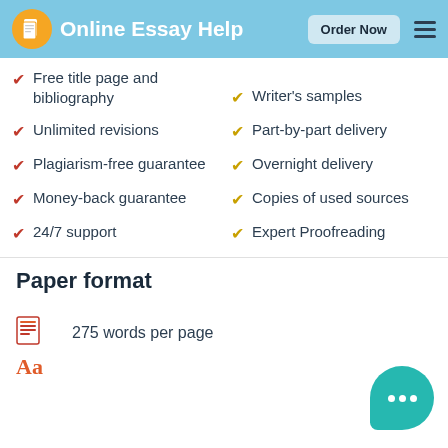Online Essay Help | Order Now
Free title page and bibliography
Unlimited revisions
Plagiarism-free guarantee
Money-back guarantee
24/7 support
Writer's samples
Part-by-part delivery
Overnight delivery
Copies of used sources
Expert Proofreading
Paper format
275 words per page